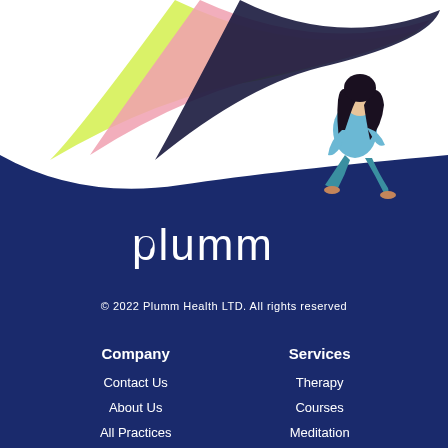[Figure (illustration): Illustration of a woman with long dark hair sitting relaxed, with colorful flowing ribbons (yellow-green, pink, dark blue) sweeping from upper right, on a white background that transitions to dark navy blue]
[Figure (logo): Plumm logo in white text on dark navy background]
© 2022 Plumm Health LTD. All rights reserved
Company
Services
Contact Us
Therapy
About Us
Courses
All Practices
Meditation
How it Works